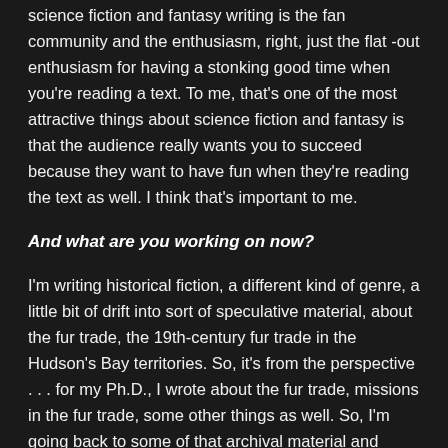science fiction and fantasy writing is the fan community and the enthusiasm, right, just the flat -out enthusiasm for having a stonking good time when you're reading a text. To me, that's one of the most attractive things about science fiction and fantasy is that the audience really wants you to succeed because they want to have fun when they're reading the text as well. I think that's important to me.
And what are you working on now?
I'm writing historical fiction, a different kind of genre, a little bit of drift into sort of speculative material, about the fur trade, the 19th-century fur trade in the Hudson's Bay territories. So, it's from the perspective . . . for my Ph.D., I wrote about the fur trade, missions in the fur trade, some other things as well. So, I'm going back to some of that archival material and trying to turn it into a novel.